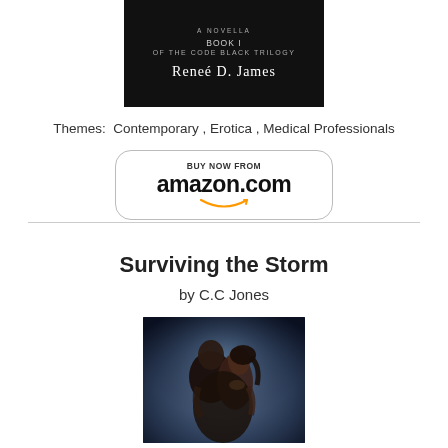[Figure (illustration): Book cover with dark/black background showing 'A Novella', 'Book I of the Code Black Trilogy', and author name 'Reneé D. James']
Themes:  Contemporary , Erotica , Medical Professionals
[Figure (logo): Amazon.com 'Buy Now From amazon.com' button with Amazon smile logo, rounded rectangle border]
Surviving the Storm
by C.C Jones
[Figure (photo): Romantic couple embracing, man and woman in close intimate pose against dark blue background, book cover image]